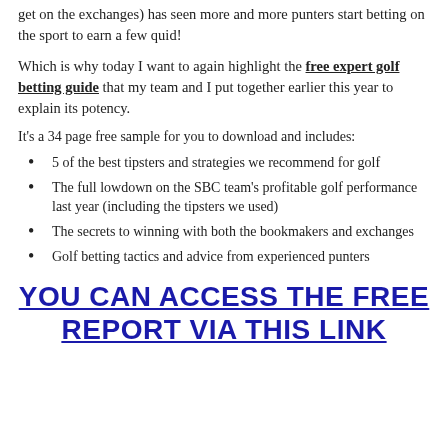get on the exchanges) has seen more and more punters start betting on the sport to earn a few quid!
Which is why today I want to again highlight the free expert golf betting guide that my team and I put together earlier this year to explain its potency.
It's a 34 page free sample for you to download and includes:
5 of the best tipsters and strategies we recommend for golf
The full lowdown on the SBC team's profitable golf performance last year (including the tipsters we used)
The secrets to winning with both the bookmakers and exchanges
Golf betting tactics and advice from experienced punters
YOU CAN ACCESS THE FREE REPORT VIA THIS LINK